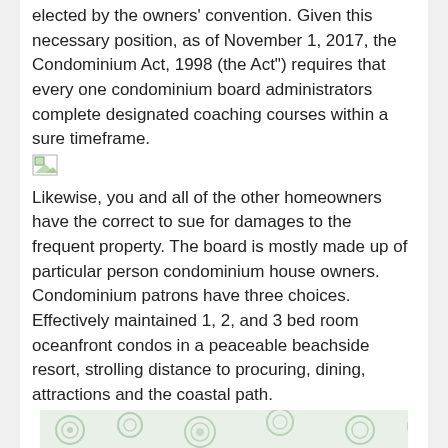elected by the owners' convention. Given this necessary position, as of November 1, 2017, the Condominium Act, 1998 (the Act") requires that every one condominium board administrators complete designated coaching courses within a sure timeframe.
[Figure (illustration): Small broken/placeholder image icon with green tones]
Likewise, you and all of the other homeowners have the correct to sue for damages to the frequent property. The board is mostly made up of particular person condominium house owners. Condominium patrons have three choices. Effectively maintained 1, 2, and 3 bed room oceanfront condos in a peaceable beachside resort, strolling distance to procuring, dining, attractions and the coastal path.
[Figure (illustration): Decorative background image with green circular/floral pattern elements at bottom of page]